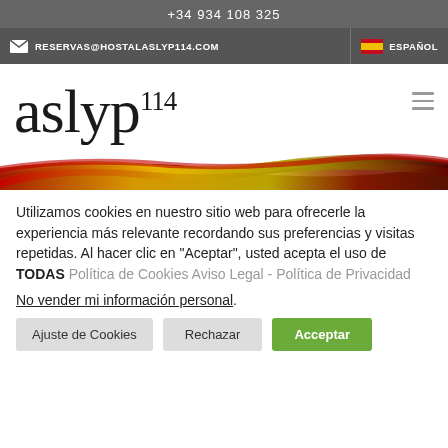+34 934 108 325
RESERVAS@HOSTALASLYP114.COM  ESPAÑOL
[Figure (logo): aslyp 114 logo in serif font, large black text]
[Figure (illustration): Decorative wave banner with Spanish flag colors: red, yellow, dark brown/red gradient waves]
Utilizamos cookies en nuestro sitio web para ofrecerle la experiencia más relevante recordando sus preferencias y visitas repetidas. Al hacer clic en "Aceptar", usted acepta el uso de TODAS Política de Cookies Aviso Legal - Política de Privacidad
No vender mi información personal.
Ajuste de Cookies   Rechazar   Acceptar